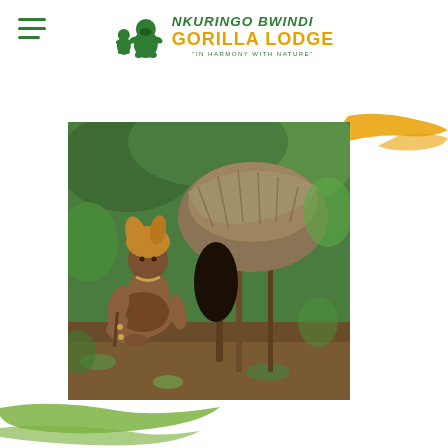[Figure (logo): Nkuringo Bwindi Gorilla Lodge logo with gorilla silhouette and text 'IN HARMONY WITH NATURE']
[Figure (photo): A person in traditional African attire crouching near a thatched hut structure in a forest setting]